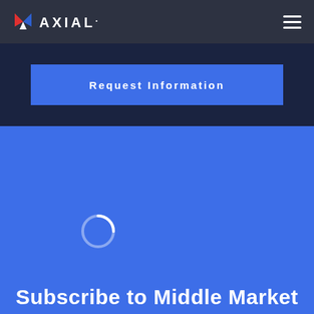AXIAL
Request Information
[Figure (screenshot): Blue section with a loading spinner (circular 'C' shape) on a blue background]
Subscribe to Middle Market